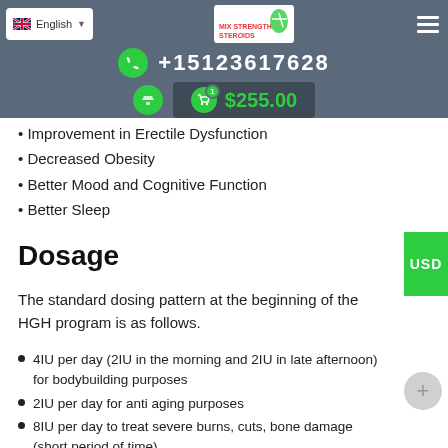English | +15123617628 | $255.00
Improvement in Erectile Dysfunction
Decreased Obesity
Better Mood and Cognitive Function
Better Sleep
Dosage
The standard dosing pattern at the beginning of the HGH program is as follows.
4IU per day (2IU in the morning and 2IU in late afternoon) for bodybuilding purposes
2IU per day for anti aging purposes
8IU per day to treat severe burns, cuts, bone damage (short period of time)